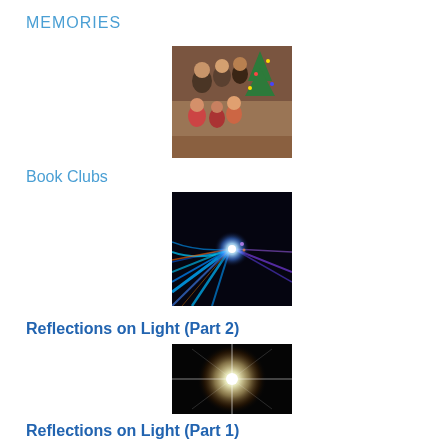MEMORIES
[Figure (photo): Family group photo with adults and children near a Christmas tree]
Book Clubs
[Figure (photo): Abstract blue light streaks converging to a central bright point on black background]
Reflections on Light (Part 2)
[Figure (photo): Bright star-burst light against dark background]
Reflections on Light (Part 1)